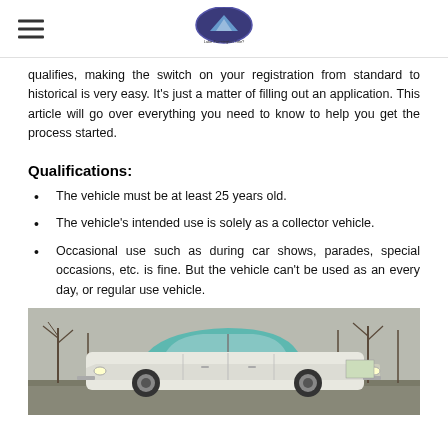[Logo: Lake Farmington Title?]
qualifies, making the switch on your registration from standard to historical is very easy. It's just a matter of filling out an application. This article will go over everything you need to know to help you get the process started.
Qualifications:
The vehicle must be at least 25 years old.
The vehicle's intended use is solely as a collector vehicle.
Occasional use such as during car shows, parades, special occasions, etc. is fine. But the vehicle can't be used as an every day, or regular use vehicle.
[Figure (photo): A vintage 1950s teal and white classic car parked outdoors with bare trees in the background.]